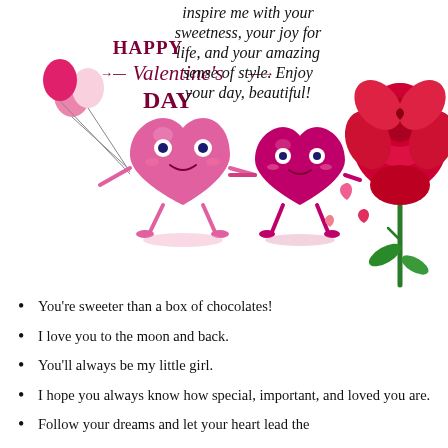[Figure (illustration): Valentine's Day greeting card illustration with two cute cartoon heart characters holding hands, balloons on the left, small pink hearts floating, a large red rose on the right, and 'Happy Valentine's Day' text with arrow decorations in dark red/maroon color]
inspire me with your sweetness, your joy for life, and your amazing sense of style. Enjoy your day, beautiful!
You're sweeter than a box of chocolates!
I love you to the moon and back.
You'll always be my little girl.
I hope you always know how special, important, and loved you are.
Follow your dreams and let your heart lead the